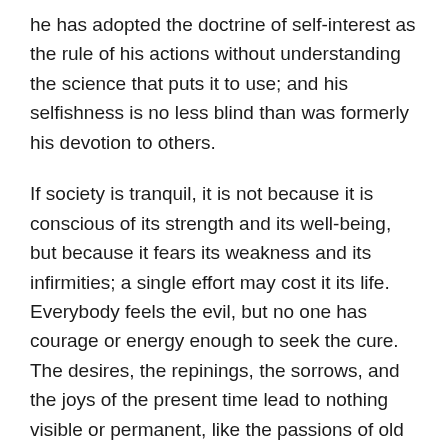he has adopted the doctrine of self-interest as the rule of his actions without understanding the science that puts it to use; and his selfishness is no less blind than was formerly his devotion to others.
If society is tranquil, it is not because it is conscious of its strength and its well-being, but because it fears its weakness and its infirmities; a single effort may cost it its life. Everybody feels the evil, but no one has courage or energy enough to seek the cure. The desires, the repinings, the sorrows, and the joys of the present time lead to nothing visible or permanent, like the passions of old men, which terminate in impotence.
We have, then, abandoned whatever advantages the old state of things afforded, without receiving any compensation from our present condition; we have destroyed an aristocracy, and